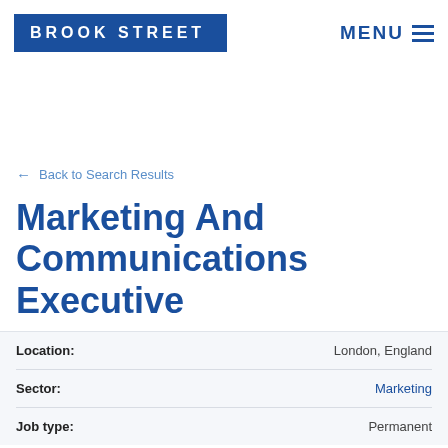BROOK STREET  MENU
← Back to Search Results
Marketing And Communications Executive
| Field | Value |
| --- | --- |
| Location: | London, England |
| Sector: | Marketing |
| Job type: | Permanent |